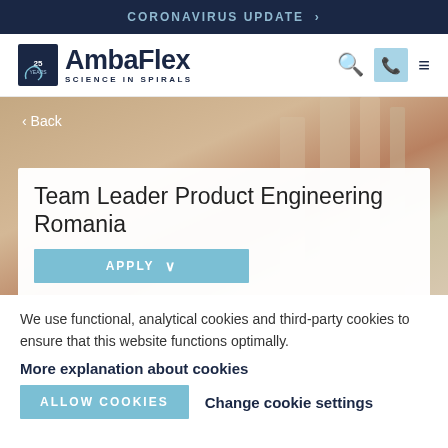CORONAVIRUS UPDATE >
[Figure (logo): AmbaFlex – Science in Spirals logo with 25 years badge, search icon, phone button, and hamburger menu]
[Figure (photo): Blurred warehouse/industrial background hero image with Back navigation link]
Team Leader Product Engineering Romania
APPLY
We use functional, analytical cookies and third-party cookies to ensure that this website functions optimally.
More explanation about cookies
ALLOW COOKIES
Change cookie settings